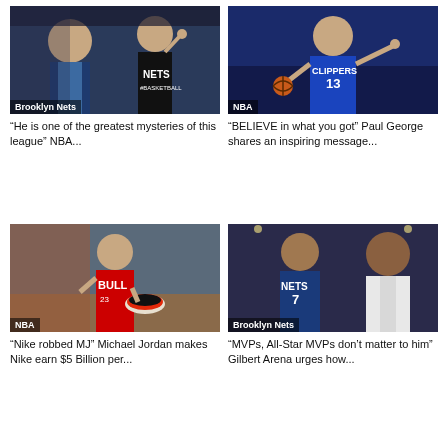[Figure (photo): Brooklyn Nets article thumbnail showing two people, one in a suit and one in a Brooklyn Nets jersey]
“He is one of the greatest mysteries of this league” NBA...
[Figure (photo): NBA article thumbnail showing Paul George in Clippers #13 jersey pointing]
“BELIEVE in what you got” Paul George shares an inspiring message...
[Figure (photo): NBA article thumbnail showing Michael Jordan in Bulls jersey with sneakers]
“Nike robbed MJ” Michael Jordan makes Nike earn $5 Billion per...
[Figure (photo): Brooklyn Nets article thumbnail showing two players, one in Nets jersey #7]
“MVPs, All-Star MVPs don’t matter to him” Gilbert Arena urges how...